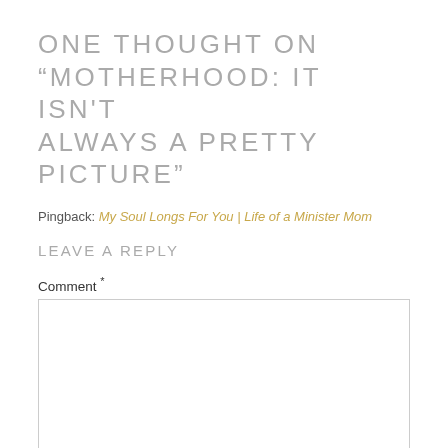ONE THOUGHT ON “MOTHERHOOD: IT ISN'T ALWAYS A PRETTY PICTURE”
Pingback: My Soul Longs For You | Life of a Minister Mom
LEAVE A REPLY
Comment *